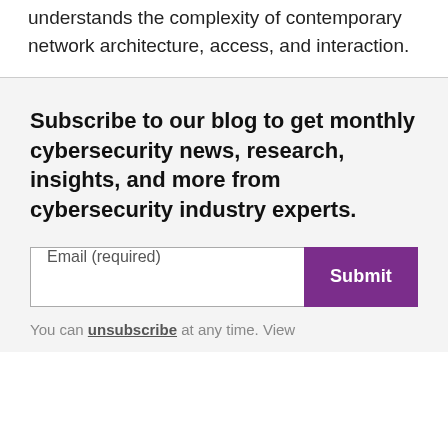understands the complexity of contemporary network architecture, access, and interaction.
Subscribe to our blog to get monthly cybersecurity news, research, insights, and more from cybersecurity industry experts.
You can unsubscribe at any time. View